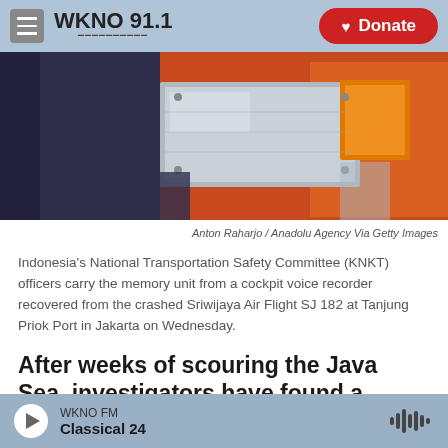WKNO 91.1  | Donate
[Figure (photo): A close-up photo showing hands carrying a metallic memory unit from a cockpit voice recorder, with orange background (flight recorder casing), dark blue jacket visible on left.]
Anton Raharjo / Anadolu Agency Via Getty Images
Indonesia's National Transportation Safety Committee (KNKT) officers carry the memory unit from a cockpit voice recorder recovered from the crashed Sriwijaya Air Flight SJ 182 at Tanjung Priok Port in Jakarta on Wednesday.
After weeks of scouring the Java Sea, investigators have found a crucial piece of the cockpit voice
WKNO FM  Classical 24